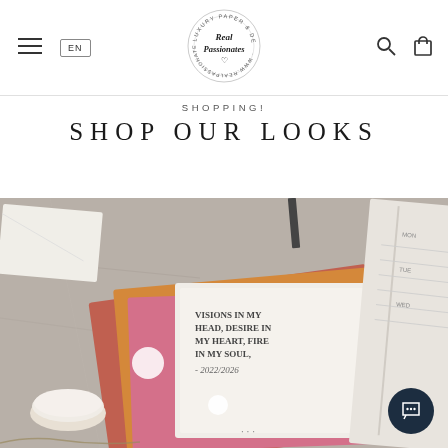Real Passionates — Luxury Paper & Design Goods — EN | Search | Cart
SHOPPING!
SHOP OUR LOOKS
[Figure (photo): Overhead flatlay of stationery items including planners and notebooks on a stone surface. A white book with text 'VISIONS IN MY HEAD, DESIRE IN MY HEART, FIRE IN MY SOUL. - 2022/2026' is prominently visible. A ceramic dish and chain are also visible.]